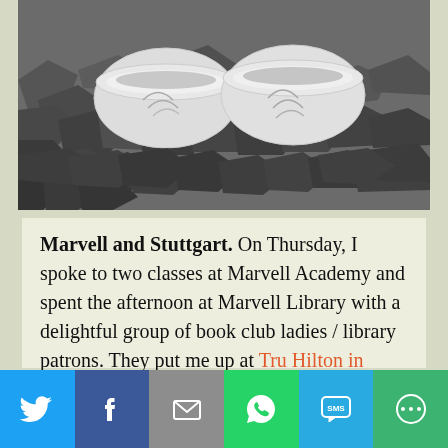[Figure (photo): Black and white photo of two ceramic bowls with leaf designs, placed on rocky/cracked ground or clay]
Marvell and Stuttgart. On Thursday, I spoke to two classes at Marvell Academy and spent the afternoon at Marvell Library with a delightful group of book club ladies / library patrons. They put me up at Tru Hilton in Stuttgart, an unexpected treat in an area known for ducks but not hotels.
[Figure (infographic): Social sharing bar with Twitter, Facebook, Email, WhatsApp, SMS, and More buttons]